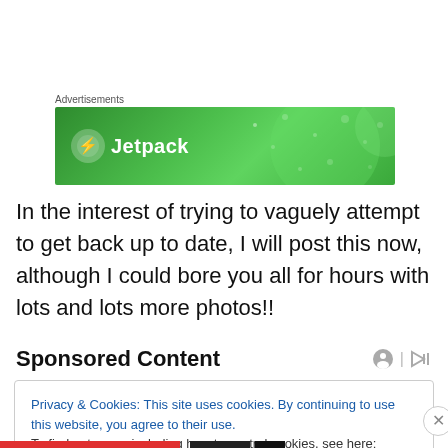Advertisements
[Figure (logo): Jetpack advertisement banner — green background with Jetpack logo and text]
In the interest of trying to vaguely attempt to get back up to date, I will post this now, although I could bore you all for hours with lots and lots more photos!!
Sponsored Content
Privacy & Cookies: This site uses cookies. By continuing to use this website, you agree to their use.
To find out more, including how to control cookies, see here: Cookie Policy
Close and accept